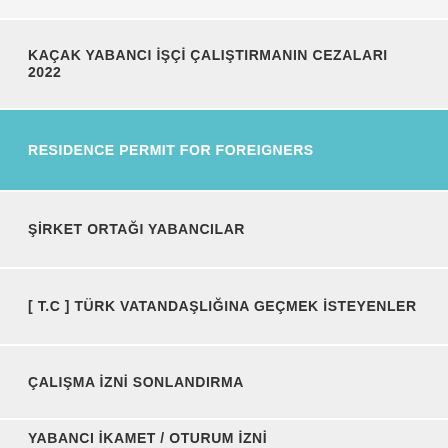KAÇAK YABANCI İŞÇİ ÇALIŞTIRMANIN CEZALARI 2022
RESIDENCE PERMIT FOR FOREIGNERS
ŞİRKET ORTAĞI YABANCILAR
[ T.C ] TÜRK VATANDAŞLIĞINA GEÇMEK İSTEYENLER
ÇALIŞMA İZNİ SONLANDIRMA
YABANCI İKAMET / OTURUM İZNİ